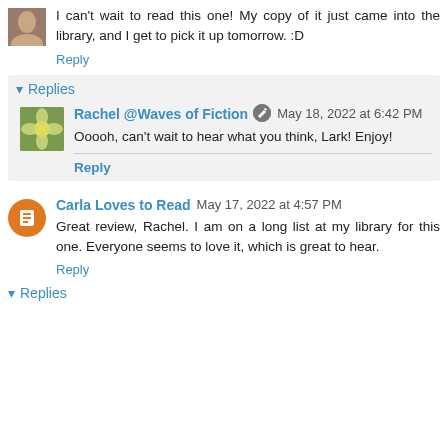I can't wait to read this one! My copy of it just came into the library, and I get to pick it up tomorrow. :D
Reply
▾ Replies
Rachel @Waves of Fiction  May 18, 2022 at 6:42 PM
Ooooh, can't wait to hear what you think, Lark! Enjoy!
Reply
Carla Loves to Read  May 17, 2022 at 4:57 PM
Great review, Rachel. I am on a long list at my library for this one. Everyone seems to love it, which is great to hear.
Reply
▾ Replies